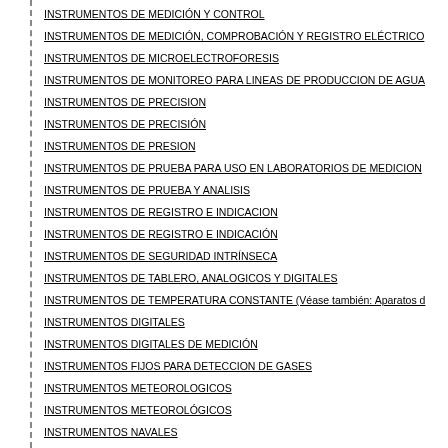INSTRUMENTOS DE MEDICIÓN Y CONTROL
INSTRUMENTOS DE MEDICIÓN, COMPROBACIÓN Y REGISTRO ELÉCTRICO
INSTRUMENTOS DE MICROELECTROFORESIS
INSTRUMENTOS DE MONITOREO PARA LINEAS DE PRODUCCION DE AGUA
INSTRUMENTOS DE PRECISION
INSTRUMENTOS DE PRECISIÓN
INSTRUMENTOS DE PRESION
INSTRUMENTOS DE PRUEBA PARA USO EN LABORATORIOS DE MEDICION
INSTRUMENTOS DE PRUEBA Y ANALISIS
INSTRUMENTOS DE REGISTRO E INDICACION
INSTRUMENTOS DE REGISTRO E INDICACIÓN
INSTRUMENTOS DE SEGURIDAD INTRÍNSECA
INSTRUMENTOS DE TABLERO, ANALOGICOS Y DIGITALES
INSTRUMENTOS DE TEMPERATURA CONSTANTE (Véase también: Aparatos d
INSTRUMENTOS DIGITALES
INSTRUMENTOS DIGITALES DE MEDICIÓN
INSTRUMENTOS FIJOS PARA DETECCION DE GASES
INSTRUMENTOS METEOROLOGICOS
INSTRUMENTOS METEOROLÓGICOS
INSTRUMENTOS NAVALES
INSTRUMENTOS NEUROCIRURGICOS